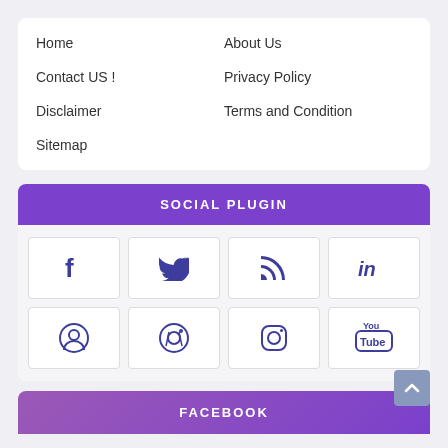Home
About Us
Contact US !
Privacy Policy
Disclaimer
Terms and Condition
Sitemap
SOCIAL PLUGIN
[Figure (infographic): Social media icons grid: Facebook, Twitter, RSS, LinkedIn, Reddit, Pinterest, Instagram, YouTube]
FACEBOOK